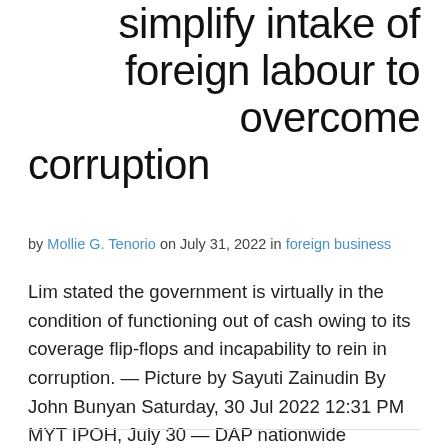simplify intake of foreign labour to overcome corruption
by Mollie G. Tenorio on July 31, 2022 in foreign business
Lim stated the government is virtually in the condition of functioning out of cash owing to its coverage flip-flops and incapability to rein in corruption. — Picture by Sayuti Zainudin By John Bunyan Saturday, 30 Jul 2022 12:31 PM MYT IPOH, July 30 — DAP nationwide chairman Lim Guan Eng now urged Human Sources Minister Datuk Seri S. Saravanan to… Read more →